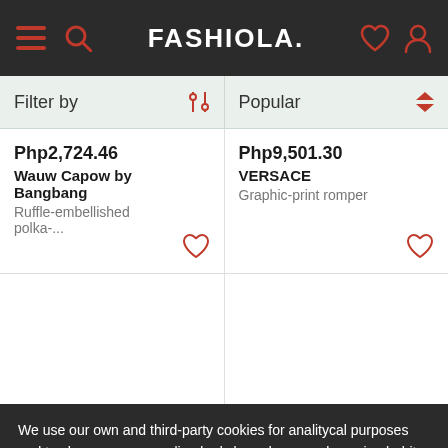FASHIOLA.
Filter by | Popular
Php2,724.46
Wauw Capow by Bangbang
Ruffle-embellished polka-...
Php9,501.30
VERSACE
Graphic-print romper
We use our own and third-party cookies for analitycal purposes and to show you personalized ads based on your browsing habits. You can accept all non-necessary cookies by pressing "Accept" or reject them not pressing it.
More information | Accept